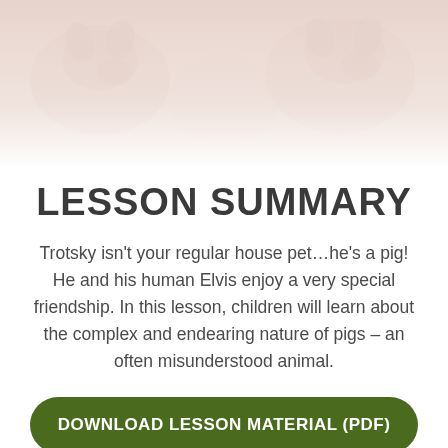[Figure (photo): Faded/washed-out background photo showing pigs, very light and desaturated at the top of the page]
LESSON SUMMARY
Trotsky isn't your regular house pet…he's a pig! He and his human Elvis enjoy a very special friendship. In this lesson, children will learn about the complex and endearing nature of pigs – an often misunderstood animal.
DOWNLOAD LESSON MATERIAL (PDF)